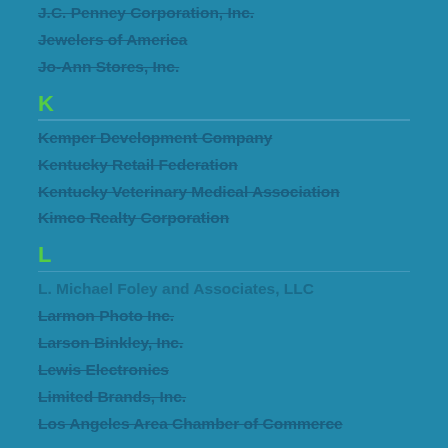J.C. Penney Corporation, Inc.
Jewelers of America
Jo-Ann Stores, Inc.
K
Kemper Development Company
Kentucky Retail Federation
Kentucky Veterinary Medical Association
Kimco Realty Corporation
L
L. Michael Foley and Associates, LLC
Larmon Photo Inc.
Larson Binkley, Inc.
Lewis Electronics
Limited Brands, Inc.
Los Angeles Area Chamber of Commerce